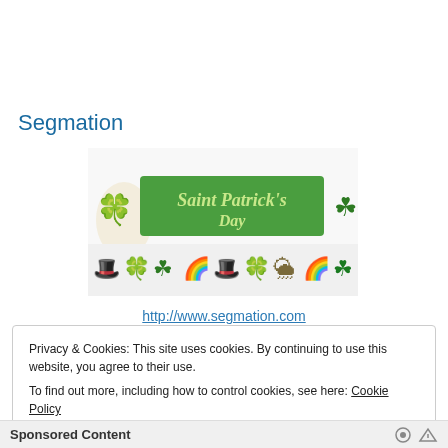Segmation
[Figure (illustration): Saint Patrick's Day banner with leprechaun, green banner text reading 'Saint Patrick's Day', shamrock, and a row of Saint Patrick's Day themed clip art icons including leprechauns, rainbows, hats, clovers, and pots of gold]
http://www.segmation.com
Privacy & Cookies: This site uses cookies. By continuing to use this website, you agree to their use.
To find out more, including how to control cookies, see here: Cookie Policy
Close and accept
Sponsored Content